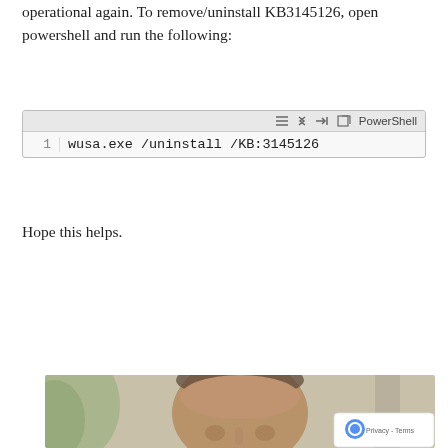operational again. To remove/uninstall KB3145126, open powershell and run the following:
[Figure (screenshot): PowerShell code block showing: 1  wusa.exe /uninstall /KB:3145126]
Hope this helps.
Read More (button)
[Figure (photo): Close-up photo of a bald man's face with a blurred outdoor background. A reCAPTCHA badge appears in the bottom right corner with 'Privacy - Terms' text.]